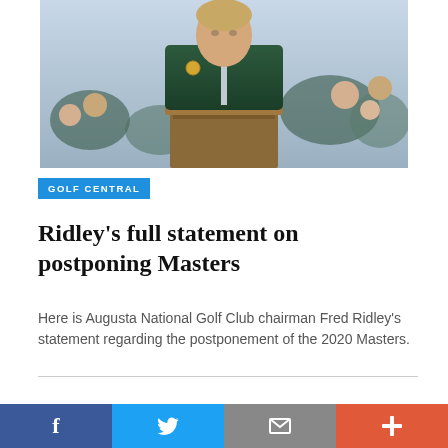[Figure (photo): Man in green Masters jacket speaking at a podium with a microphone, crowd visible in background]
GOLF CENTRAL
Ridley's full statement on postponing Masters
Here is Augusta National Golf Club chairman Fred Ridley's statement regarding the postponement of the 2020 Masters.
While Ridley didn't specify a particular time on the